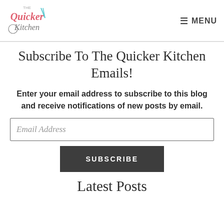The Quicker Kitchen | MENU
Subscribe To The Quicker Kitchen Emails!
Enter your email address to subscribe to this blog and receive notifications of new posts by email.
Email Address
SUBSCRIBE
Latest Posts